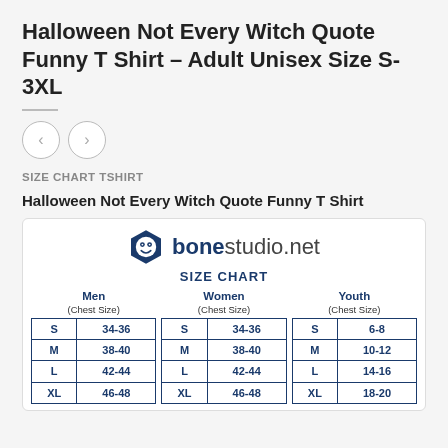Halloween Not Every Witch Quote Funny T Shirt – Adult Unisex Size S-3XL
[Figure (other): Navigation arrow buttons (left and right chevron circles)]
SIZE CHART TSHIRT
Halloween Not Every Witch Quote Funny T Shirt
[Figure (table-as-image): Bone Studio size chart showing Men, Women, and Youth chest sizes for S, M, L, XL]
| Men (Chest Size) |  | Women (Chest Size) |  | Youth (Chest Size) |  |
| --- | --- | --- | --- | --- | --- |
| S | 34-36 | S | 34-36 | S | 6-8 |
| M | 38-40 | M | 38-40 | M | 10-12 |
| L | 42-44 | L | 42-44 | L | 14-16 |
| XL | 46-48 | XL | 46-48 | XL | 18-20 |